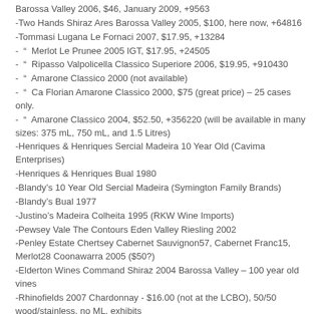Barossa Valley 2006, $46, January 2009, +9563
-Two Hands Shiraz Ares Barossa Valley 2005, $100, here now, +64816
-Tommasi Lugana Le Fornaci 2007, $17.95, +13284
-  "  Merlot Le Prunee 2005 IGT, $17.95, +24505
-  "  Ripasso Valpolicella Classico Superiore 2006, $19.95, +910430
-  "  Amarone Classico 2000 (not available)
-  "  Ca Florian Amarone Classico 2000, $75 (great price) – 25 cases only.
-  "  Amarone Classico 2004, $52.50, +356220 (will be available in many sizes: 375 mL, 750 mL, and 1.5 Litres)
-Henriques & Henriques Sercial Madeira 10 Year Old (Cavima Enterprises)
-Henriques & Henriques Bual 1980
-Blandy's 10 Year Old Sercial Madeira (Symington Family Brands)
-Blandy's Bual 1977
-Justino's Madeira Colheita 1995 (RKW Wine Imports)
-Pewsey Vale The Contours Eden Valley Riesling 2002
-Penley Estate Chertsey Cabernet Sauvignon57, Cabernet Franc15, Merlot28 Coonawarra 2005 ($50?)
-Elderton Wines Command Shiraz 2004 Barossa Valley – 100 year old vines
-Rhinofields 2007 Chardonnay - $16.00 (not at the LCBO), 50/50 wood/stainless, no ML, exhibits